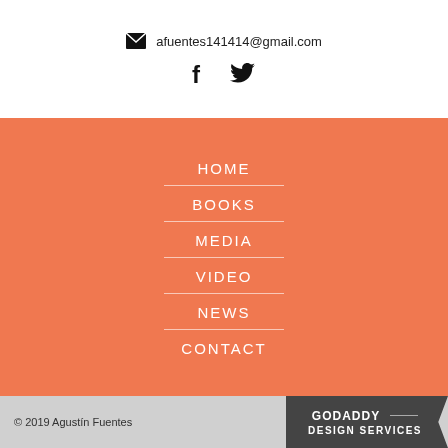afuentes141414@gmail.com
[Figure (illustration): Facebook and Twitter social media icons]
HOME
BOOKS
MEDIA
VIDEO
NEWS
CONTACT
© 2019 Agustín Fuentes  GODADDY — DESIGN SERVICES